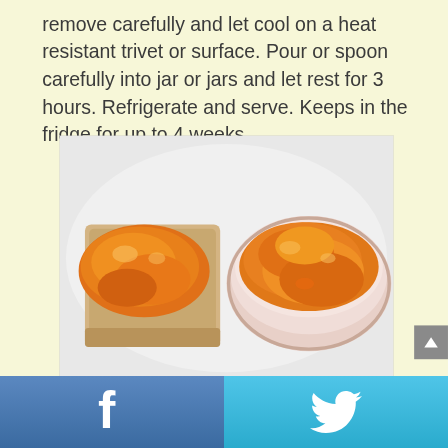remove carefully and let cool on a heat resistant trivet or surface. Pour or spoon carefully into jar or jars and let rest for 3 hours. Refrigerate and serve. Keeps in the fridge for up to 4 weeks.
[Figure (photo): A photo showing orange jam/marmalade spread on a slice of bread on a white plate, alongside a white bowl filled with the same orange jam.]
Facebook share button and Twitter share button